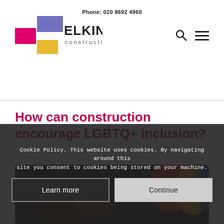Phone: 020 8692 4960
[Figure (logo): Elkins Construction logo with coloured squares (blue, pink, yellow) and text 'ELKINS construction']
How can construction encourage LGBTQ+ inclusion?
[Figure (photo): Partial photo showing colourful balloons and hands, referencing LGBTQ+ themes]
Cookie Policy. This website uses cookies. By navigating around this site you consent to cookies being stored on your machine.